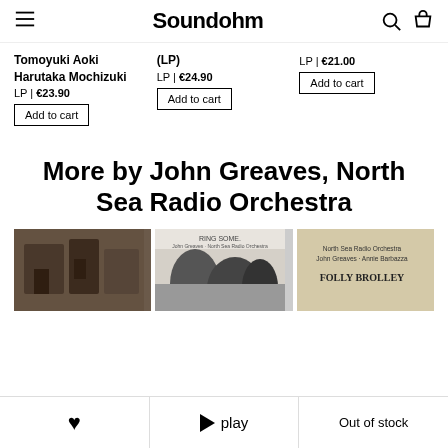Soundohm
Tomoyuki Aoki
Harutaka Mochizuki
LP | €23.90
(LP)
LP | €24.90
LP | €21.00
More by John Greaves, North Sea Radio Orchestra
[Figure (photo): Three album cover thumbnails for John Greaves, North Sea Radio Orchestra releases]
♥   ▶ play   Out of stock